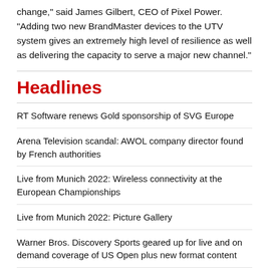change," said James Gilbert, CEO of Pixel Power. "Adding two new BrandMaster devices to the UTV system gives an extremely high level of resilience as well as delivering the capacity to serve a major new channel."
Headlines
RT Software renews Gold sponsorship of SVG Europe
Arena Television scandal: AWOL company director found by French authorities
Live from Munich 2022: Wireless connectivity at the European Championships
Live from Munich 2022: Picture Gallery
Warner Bros. Discovery Sports geared up for live and on demand coverage of US Open plus new format content
Live from Munich 2022: Inside the European Championships with EMG
Deutsche Fussball Liga enhances international ... with AR and new perspectives
Red Bull Munich enhances the digital exp...